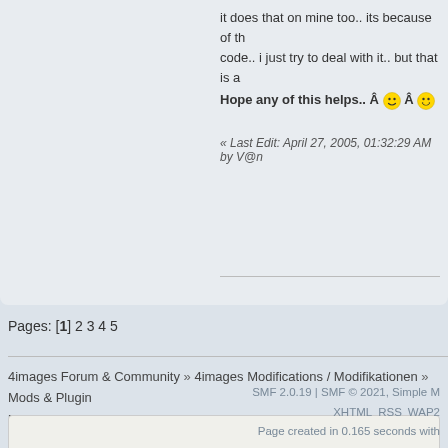it does that on mine too.. its because of the code.. i just try to deal with it.. but that is a
Hope any of this helps.. Â 😊 Â 😁
« Last Edit: April 27, 2005, 01:32:29 AM by V@n
Pages: [1] 2 3 4 5
4images Forum & Community » 4images Modifications / Modifikationen » Mods & Plugins » [MOD] Terms and Conditions for images v1.2.1
SMF 2.0.19 | SMF © 2021, Simple M
XHTML   RSS   WAP2
Page created in 0.165 seconds with